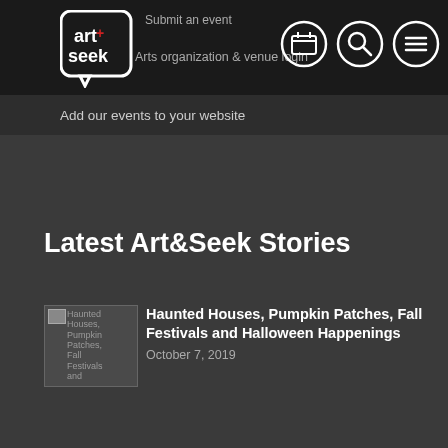Submit an event | Arts organization & venue login
Add our events to your website
Latest Art&Seek Stories
[Figure (screenshot): Broken image placeholder for Haunted Houses, Pumpkin Patches, Fall Festivals and Halloween Happenings article thumbnail]
Haunted Houses, Pumpkin Patches, Fall Festivals and Halloween Happenings
October 7, 2019